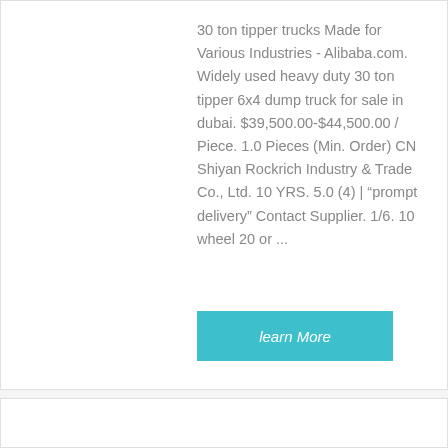30 ton tipper trucks Made for Various Industries - Alibaba.com. Widely used heavy duty 30 ton tipper 6x4 dump truck for sale in dubai. $39,500.00-$44,500.00 / Piece. 1.0 Pieces (Min. Order) CN Shiyan Rockrich Industry & Trade Co., Ltd. 10 YRS. 5.0 (4) | "prompt delivery" Contact Supplier. 1/6. 10 wheel 20 or ...
learn More
[Figure (photo): Blue tipper/dump truck cab viewed from the front-left angle]
Fess | Dimensions and sizes of trucks